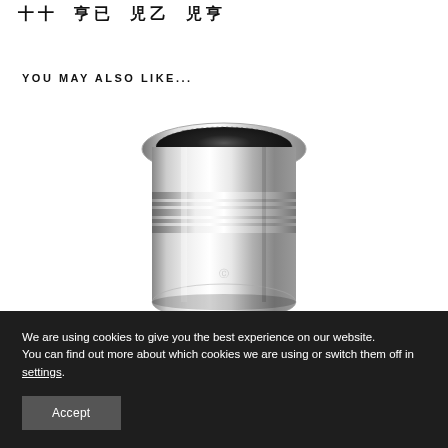十十 亡已 儿乃 儿亡
YOU MAY ALSO LIKE...
[Figure (photo): A polished chrome cylindrical product (appears to be a luxury pen or writing instrument component) shown from a top-angled perspective, featuring a ridged body with a dark textured top opening, highly reflective silver finish]
We are using cookies to give you the best experience on our website.
You can find out more about which cookies we are using or switch them off in settings.
Accept